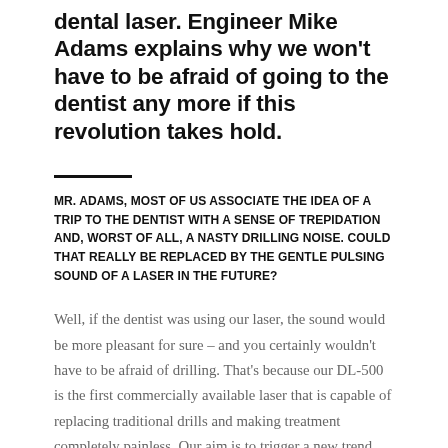dental laser. Engineer Mike Adams explains why we won't have to be afraid of going to the dentist any more if this revolution takes hold.
MR. ADAMS, MOST OF US ASSOCIATE THE IDEA OF A TRIP TO THE DENTIST WITH A SENSE OF TREPIDATION AND, WORST OF ALL, A NASTY DRILLING NOISE. COULD THAT REALLY BE REPLACED BY THE GENTLE PULSING SOUND OF A LASER IN THE FUTURE?
Well, if the dentist was using our laser, the sound would be more pleasant for sure – and you certainly wouldn't have to be afraid of drilling. That's because our DL-500 is the first commercially available laser that is capable of replacing traditional drills and making treatment completely painless. Our aim is to trigger a new trend that